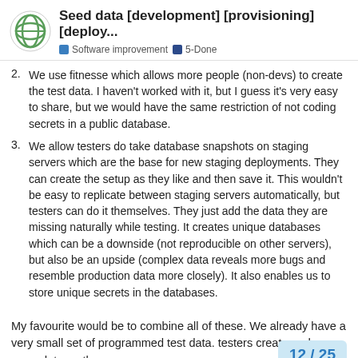Seed data [development] [provisioning] [deploy...
Software improvement  5-Done
2. We use fitnesse which allows more people (non-devs) to create the test data. I haven't worked with it, but I guess it's very easy to share, but we would have the same restriction of not coding secrets in a public database.
3. We allow testers do take database snapshots on staging servers which are the base for new staging deployments. They can create the setup as they like and then save it. This wouldn't be easy to replicate between staging servers automatically, but testers can do it themselves. They just add the data they are missing naturally while testing. It creates unique databases which can be a downside (not reproducible on other servers), but also be an upside (complex data reveals more bugs and resemble production data more closely). It also enables us to store unique secrets in the databases.
My favourite would be to combine all of these. We already have a very small set of programmed test data. testers create and save more data on the s